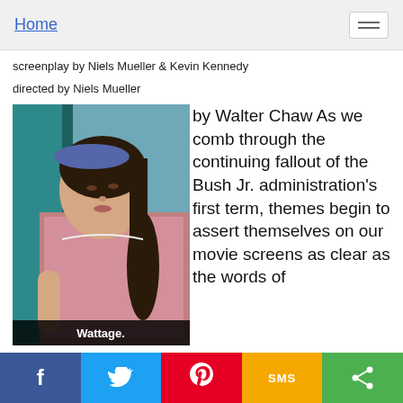Home
screenplay by Niels Mueller & Kevin Kennedy
directed by Niels Mueller
[Figure (photo): A young woman in a pink gingham dress and blue headband, leaning against a teal wall, looking to the side. Caption bar reads: Wattage.]
by Walter Chaw As we comb through the continuing fallout of the Bush Jr. administration's first term, themes begin to assert themselves on our movie screens as clear as the words of prophets written on tenement halls. Colorized misogyny and race-baiting spectacles share time with protest pictures that are oftentimes more strident and dogmatic than the party line--it's
f  Twitter  Pinterest  SMS  Share